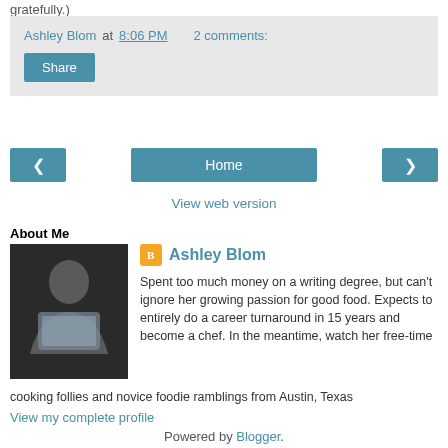gratefully.)
Ashley Blom at 8:06 PM   2 comments:
[Figure (other): Share button]
[Figure (other): Navigation: left arrow, Home button, right arrow]
View web version
About Me
[Figure (photo): Photo of Ashley Blom holding something in front of her face, dark background]
Ashley Blom
Spent too much money on a writing degree, but can't ignore her growing passion for good food. Expects to entirely do a career turnaround in 15 years and become a chef. In the meantime, watch her free-time cooking follies and novice foodie ramblings from Austin, Texas
View my complete profile
Powered by Blogger.